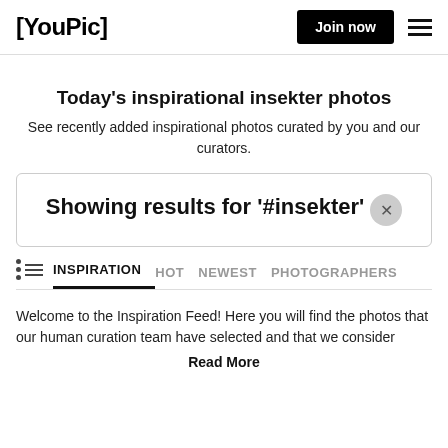[YouPic] Join now
Today's inspirational insekter photos
See recently added inspirational photos curated by you and our curators.
Showing results for '#insekter' ×
INSPIRATION  HOT  NEWEST  PHOTOGRAPHERS
Welcome to the Inspiration Feed! Here you will find the photos that our human curation team have selected and that we consider
Read More